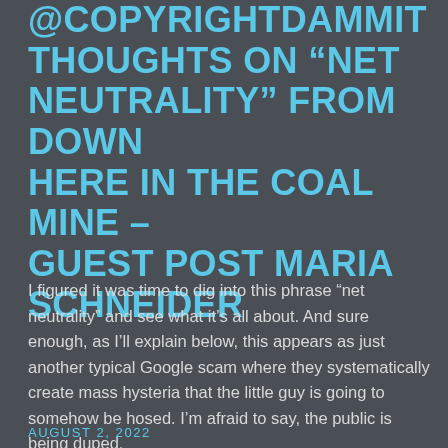@COPYRIGHTDAMMIT THOUGHTS ON “NET NEUTRALITY” FROM DOWN HERE IN THE COAL MINE – GUEST POST MARIA SCHNEIDER
I figured it was time to dig into this phrase “net neutrality” and see what it’s all about. And sure enough, as I’ll explain below, this appears as just another typical Google scam where they systematically create mass hysteria that the little guy is going to somehow be hosed. I’m afraid to say, the public is being duped.
AUGUST 2, 2022